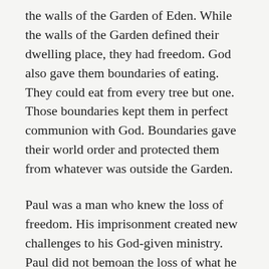the walls of the Garden of Eden. While the walls of the Garden defined their dwelling place, they had freedom. God also gave them boundaries of eating. They could eat from every tree but one. Those boundaries kept them in perfect communion with God. Boundaries gave their world order and protected them from whatever was outside the Garden.
Paul was a man who knew the loss of freedom. His imprisonment created new challenges to his God-given ministry. Paul did not bemoan the loss of what he could no longer do. He did not become so discouraged by his inability to speak face-to-face with the churches that he sat within the walls of his confinement idle and immobilized, longing for the days of freedom he once enjoyed. He did what was in front him. He focused on what he could do which